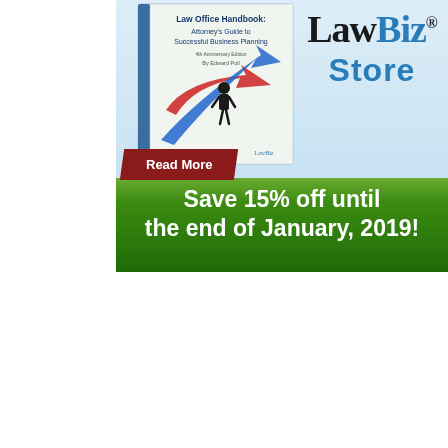[Figure (illustration): LawBiz Store advertisement showing a law office handbook book cover with colorful arrows and a silhouette figure, alongside the LawBiz Store logo in the upper right on a light blue background, a dark red 'Read More' button, and a green gradient banner at the bottom reading 'Save 15% off until the end of January, 2019!']